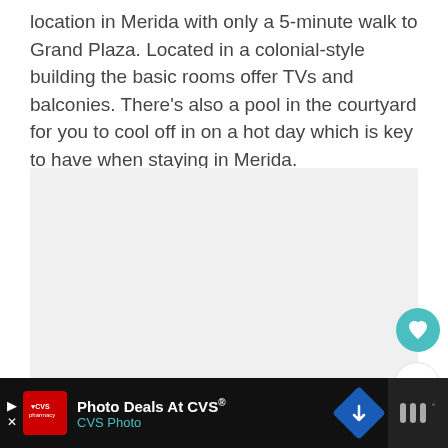location in Merida with only a 5-minute walk to Grand Plaza. Located in a colonial-style building the basic rooms offer TVs and balconies. There's also a pool in the courtyard for you to cool off in on a hot day which is key to have when staying in Merida.
[Figure (photo): Image placeholder (light gray box) with three dot navigation indicators at bottom, a heart/favorite button (teal), a count showing 8, and a share button on the right side.]